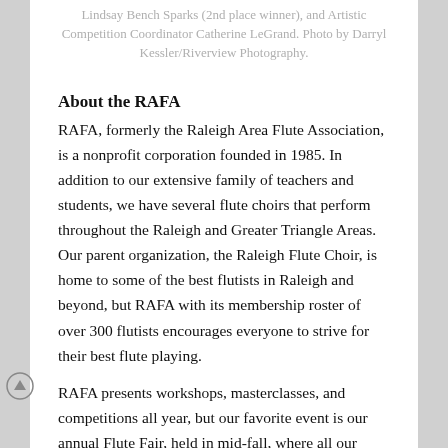Lindsay Bench Sparks (2nd place winner), and Artistic Competition Coordinator Catherine LeGrand. Photo by Darryl Kessler/Riverview Photography.
About the RAFA
RAFA, formerly the Raleigh Area Flute Association, is a nonprofit corporation founded in 1985. In addition to our extensive family of teachers and students, we have several flute choirs that perform throughout the Raleigh and Greater Triangle Areas. Our parent organization, the Raleigh Flute Choir, is home to some of the best flutists in Raleigh and beyond, but RAFA with its membership roster of over 300 flutists encourages everyone to strive for their best flute playing.
RAFA presents workshops, masterclasses, and competitions all year, but our favorite event is our annual Flute Fair, held in mid-fall, where all our members gather together for presentations, guest artists, recitals, and flute-related vendors all in one! We support activities through membership dues and contributions from both individuals